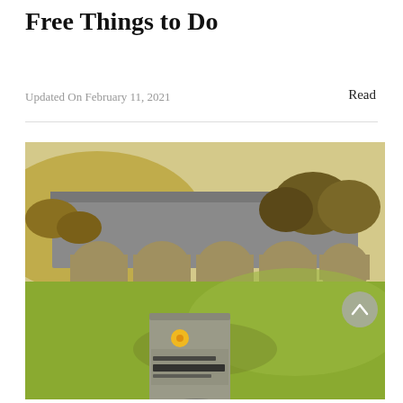Free Things to Do
Updated On February 11, 2021
Read
[Figure (photo): A stone railway viaduct with multiple arches set against a hillside landscape with autumn-colored trees and green grass. In the foreground, a guidebook titled 'Monsal Trail' is held up, with a yellow circular logo at the top.]